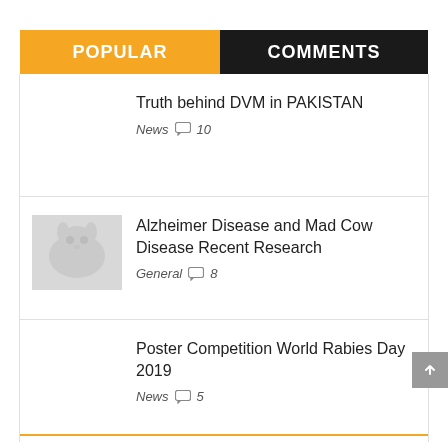POPULAR
COMMENTS
Truth behind DVM in PAKISTAN
News  10
[Figure (photo): Thumbnail image of a dog (greyscale)]
Alzheimer Disease and Mad Cow Disease Recent Research
General  8
Poster Competition World Rabies Day 2019
News  5
A Instantly Accessible Veterinary